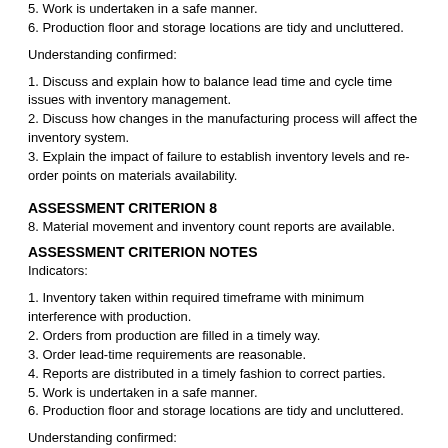5. Work is undertaken in a safe manner.
6. Production floor and storage locations are tidy and uncluttered.
Understanding confirmed:
1. Discuss and explain how to balance lead time and cycle time issues with inventory management.
2. Discuss how changes in the manufacturing process will affect the inventory system.
3. Explain the impact of failure to establish inventory levels and re-order points on materials availability.
ASSESSMENT CRITERION 8
8. Material movement and inventory count reports are available.
ASSESSMENT CRITERION NOTES
Indicators:
1. Inventory taken within required timeframe with minimum interference with production.
2. Orders from production are filled in a timely way.
3. Order lead-time requirements are reasonable.
4. Reports are distributed in a timely fashion to correct parties.
5. Work is undertaken in a safe manner.
6. Production floor and storage locations are tidy and uncluttered.
Understanding confirmed:
1. Discuss and explain how to balance lead time and cycle time issues with inventory management.
2. Discuss how changes in the manufacturing process will affect the inventory system.